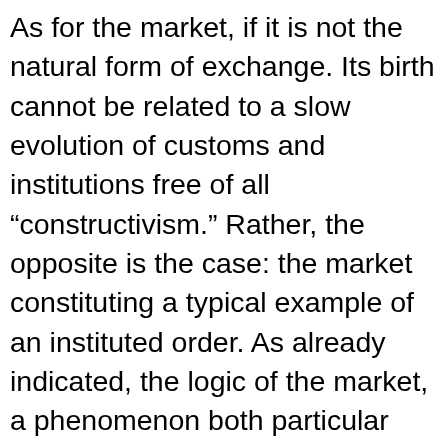As for the market, if it is not the natural form of exchange. Its birth cannot be related to a slow evolution of customs and institutions free of all “constructivism.” Rather, the opposite is the case: the market constituting a typical example of an instituted order. As already indicated, the logic of the market, a phenomenon both particular and recent, does not come into being until the end of the Middle Ages, when the emerging states, concerned with monetarizing economies in order to increase their fiscal resources, began to unify local and long distance